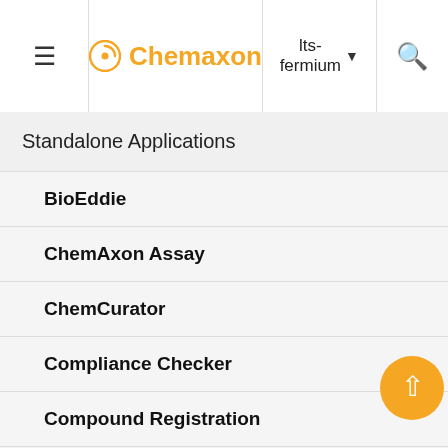Chemaxon — lts-fermium
Standalone Applications
BioEddie
ChemAxon Assay
ChemCurator
Compliance Checker
Compound Registration
Instant JChem
Markush Editor
Design Hub